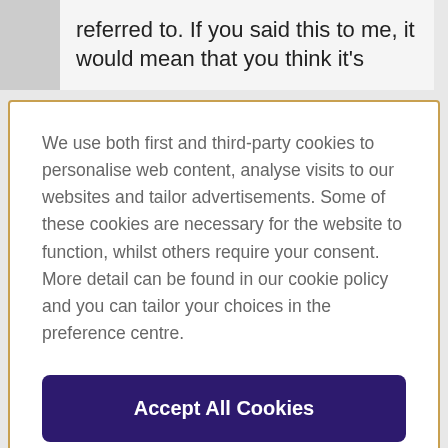referred to. If you said this to me, it would mean that you think it's
We use both first and third-party cookies to personalise web content, analyse visits to our websites and tailor advertisements. Some of these cookies are necessary for the website to function, whilst others require your consent. More detail can be found in our cookie policy and you can tailor your choices in the preference centre.
Accept All Cookies
Cookies Settings